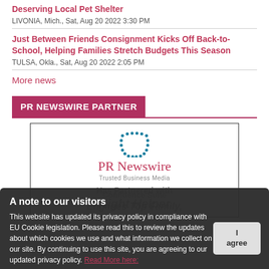Deserving Local Pet Shelter
LIVONIA, Mich., Sat, Aug 20 2022 3:30 PM
Just Between Friends Consignment Kicks Off Back-to-School, Helping Families Stretch Budgets This Season
TULSA, Okla., Sat, Aug 20 2022 2:05 PM
More news
PR NEWSWIRE PARTNER
[Figure (logo): PR Newswire logo with dotted U symbol above the text 'PR Newswire' in red, subtitle 'Trusted Business Media', and overlay text 'Has Partnered with Night Helper' and 'Confidence Suite Engages Top Family,']
A note to our visitors
This website has updated its privacy policy in compliance with EU Cookie legislation. Please read this to review the updates about which cookies we use and what information we collect on our site. By continuing to use this site, you are agreeing to our updated privacy policy. Read More here: